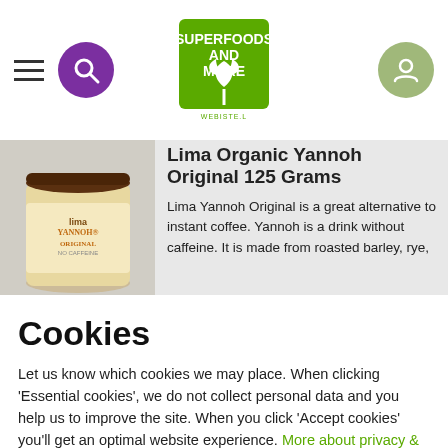[Figure (screenshot): Website header with hamburger menu, purple search circle icon, Superfoods and More logo (green square with white tree), and sage green user account circle icon]
[Figure (photo): Lima Yannoh Original tin canister, brown lid, cream and orange label]
Lima Organic Yannoh Original 125 Grams
Lima Yannoh Original is a great alternative to instant coffee. Yannoh is a drink without caffeine. It is made from roasted barley, rye, chicory and acorns. It is roasted slowly, giving it a mild taste.
Cookies
Let us know which cookies we may place. When clicking 'Essential cookies', we do not collect personal data and you help us to improve the site. When you click 'Accept cookies' you'll get an optimal website experience. More about privacy & cookies.
Original Superfoods Organic Yerba Mate 250 Grams
Yerba Mate is a nutritious drink rich in minerals, vitamins and antioxidants. The plant...